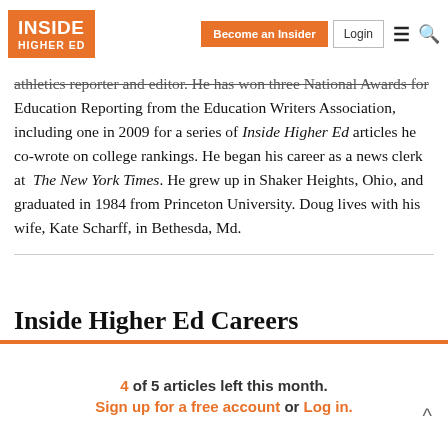Inside Higher Ed | Become an Insider | Login
athletics reporter and editor. He has won three National Awards for Education Reporting from the Education Writers Association, including one in 2009 for a series of Inside Higher Ed articles he co-wrote on college rankings. He began his career as a news clerk at The New York Times. He grew up in Shaker Heights, Ohio, and graduated in 1984 from Princeton University. Doug lives with his wife, Kate Scharff, in Bethesda, Md.
Inside Higher Ed Careers
4 of 5 articles left this month. Sign up for a free account or Log in.